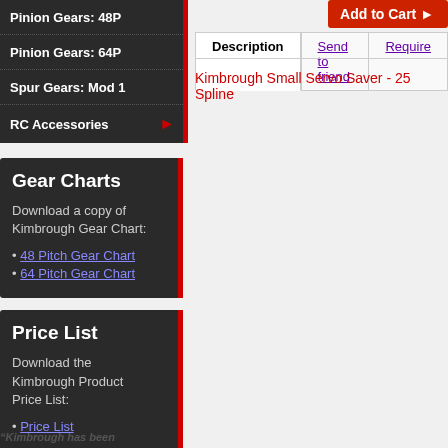Pinion Gears: 48P
Pinion Gears: 64P
Spur Gears: Mod 1
RC Accessories
Gear Charts
Download a copy of Kimbrough Gear Chart:
48 Pitch Gear Chart
64 Pitch Gear Chart
Price List
Download the Kimbrough Product Price List:
Price List
Add to Cart
Description
Send to friend
Required
Kimbrough Small Servo Saver - 25 Spline
"Kimbrough has been